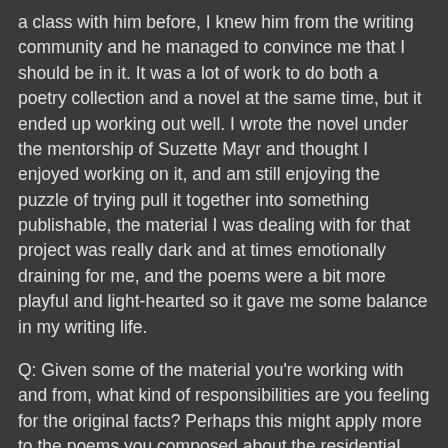a class with him before, I knew him from the writing community and he managed to convince me that I should be in it. It was a lot of work to do both a poetry collection and a novel at the same time, but it ended up working out well. I wrote the novel under the mentorship of Suzette Mayr and thought I enjoyed working on it, and am still enjoying the puzzle of trying pull it together into something publishable, the material I was dealing with for that project was really dark and at times emotionally draining for me, and the poems were a bit more playful and light-hearted so it gave me some balance in my writing life.
Q: Given some of the material you're working with and from, what kind of responsibilities are you feeling for the original facts? Perhaps this might apply more to the poems you composed about the residential school than to the facts around your grandmother's trip and her journal entries, but I'm curious if, when dealing with real events and real people, you've allowed yourself to shift detail for the sake of the writing.
A: I feel a high level of responsibility, and as you suggested